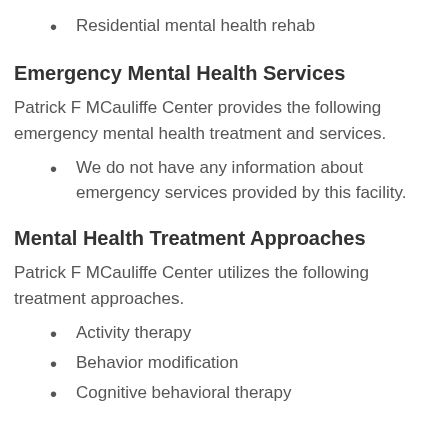Residential mental health rehab
Emergency Mental Health Services
Patrick F MCauliffe Center provides the following emergency mental health treatment and services.
We do not have any information about emergency services provided by this facility.
Mental Health Treatment Approaches
Patrick F MCauliffe Center utilizes the following treatment approaches.
Activity therapy
Behavior modification
Cognitive behavioral therapy